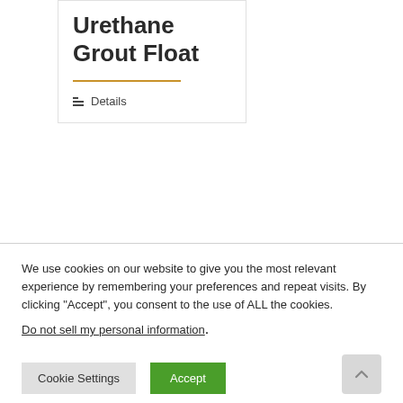Urethane Grout Float
Details
We use cookies on our website to give you the most relevant experience by remembering your preferences and repeat visits. By clicking “Accept”, you consent to the use of ALL the cookies.
Do not sell my personal information.